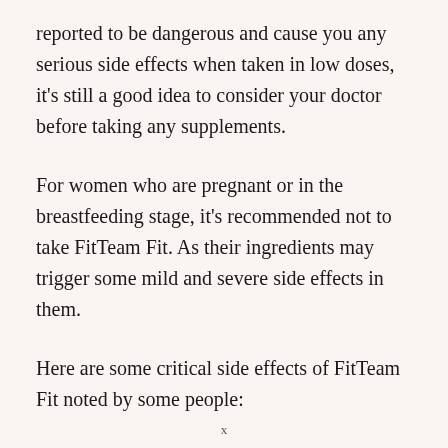reported to be dangerous and cause you any serious side effects when taken in low doses, it's still a good idea to consider your doctor before taking any supplements.
For women who are pregnant or in the breastfeeding stage, it's recommended not to take FitTeam Fit. As their ingredients may trigger some mild and severe side effects in them.
Here are some critical side effects of FitTeam Fit noted by some people:
x